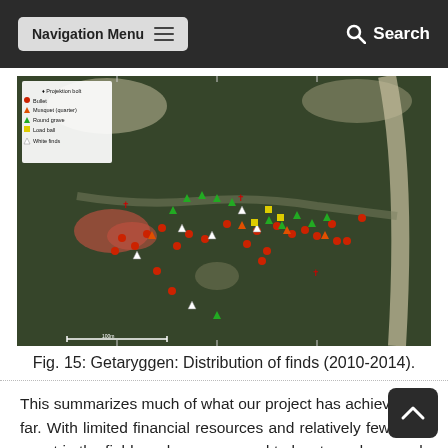Navigation Menu  Search
[Figure (map): Aerial/satellite map of Getaryggen showing distribution of archaeological finds (2010-2014) with colored symbol markers: crossbow bolt (Projektion bolt), Bullet, Musquet (quarter), Round grave, Load ball, White finds. Markers scattered along a battlefield area visible in overhead imagery.]
Fig. 15: Getaryggen: Distribution of finds (2010-2014).
This summarizes much of what our project has achieved so far. With limited financial resources and relatively few days spent in the field, we have managed to locate and research a 16th century battlefield. It has been possible to reconstruct and, to a certain point, understand what happened on that faithful day in Octo...